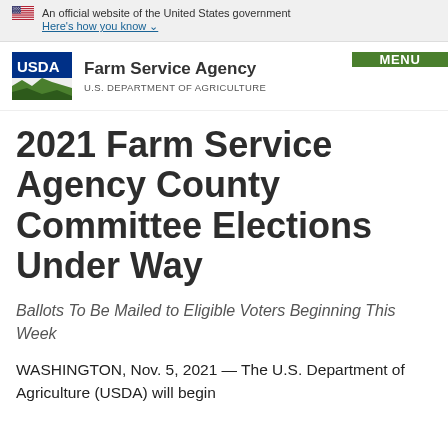An official website of the United States government Here’s how you know
[Figure (logo): USDA Farm Service Agency logo with US flag icon, agency name and U.S. Department of Agriculture text, and green MENU button]
2021 Farm Service Agency County Committee Elections Under Way
Ballots To Be Mailed to Eligible Voters Beginning This Week
WASHINGTON, Nov. 5, 2021 — The U.S. Department of Agriculture (USDA) will begin